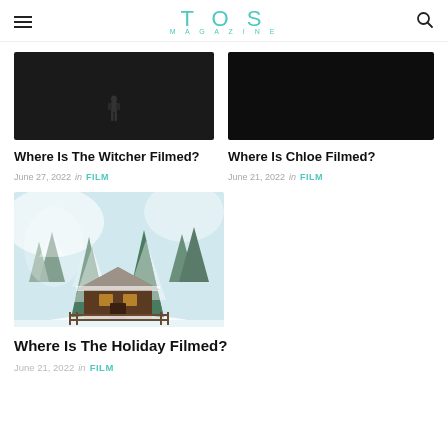TQS MAGAZINE
[Figure (photo): Dark moody photo related to The Witcher]
Where Is The Witcher Filmed?
June 27, 2022  in  FILM
[Figure (photo): Dark moody photo related to Chloe]
Where Is Chloe Filmed?
June 21, 2022  in  FILM
[Figure (photo): Snow-covered cabin and pine trees in winter landscape]
Where Is The Holiday Filmed?
June 21, 2022  in  FILM